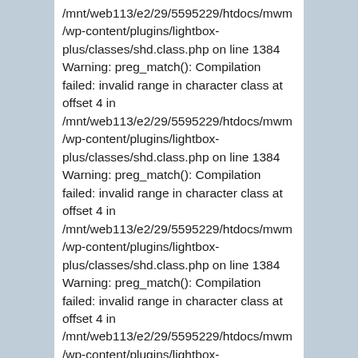/mnt/web113/e2/29/5595229/htdocs/mwm/wp-content/plugins/lightbox-plus/classes/shd.class.php on line 1384 Warning: preg_match(): Compilation failed: invalid range in character class at offset 4 in /mnt/web113/e2/29/5595229/htdocs/mwm/wp-content/plugins/lightbox-plus/classes/shd.class.php on line 1384 Warning: preg_match(): Compilation failed: invalid range in character class at offset 4 in /mnt/web113/e2/29/5595229/htdocs/mwm/wp-content/plugins/lightbox-plus/classes/shd.class.php on line 1384 Warning: preg_match(): Compilation failed: invalid range in character class at offset 4 in /mnt/web113/e2/29/5595229/htdocs/mwm/wp-content/plugins/lightbox-plus/classes/shd.class.php on line 1384 Warning: preg_match(): Compilation failed: invalid range in character class at offset 4 in /mnt/web113/e2/29/5595229/htdocs/mwm/wp-content/plugins/lightbox-plus/classes/shd.class.php on line 1384 Warning: preg_match(): Compilation failed: invalid range in character class at offset 4 in /mnt/web113/e2/29/5595229/htdocs/mwm/wp-